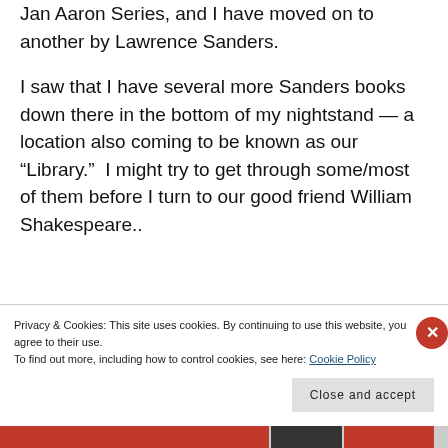Jan Aaron Series, and I have moved on to another by Lawrence Sanders.
I saw that I have several more Sanders books down there in the bottom of my nightstand — a location also coming to be known as our “Library.”  I might try to get through some/most of them before I turn to our good friend William Shakespeare..
Privacy & Cookies: This site uses cookies. By continuing to use this website, you agree to their use.
To find out more, including how to control cookies, see here: Cookie Policy